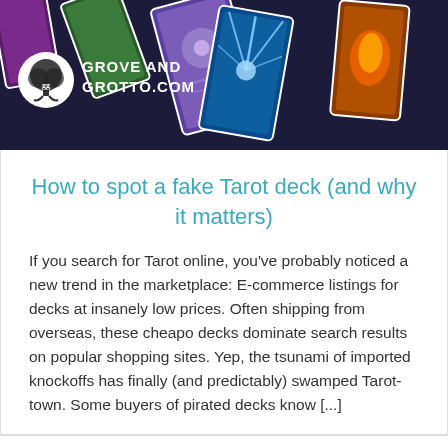[Figure (photo): Header image showing colorful tarot cards spread out, with Grove and Grotto logo in white circle on left and white bold text 'GROVE AND GROTTO.COM' next to it]
How to spot a fake Tarot deck (and why it matters)
If you search for Tarot online, you've probably noticed a new trend in the marketplace: E-commerce listings for decks at insanely low prices. Often shipping from overseas, these cheapo decks dominate search results on popular shopping sites. Yep, the tsunami of imported knockoffs has finally (and predictably) swamped Tarot-town. Some buyers of pirated decks know [...]
VIEW MORE